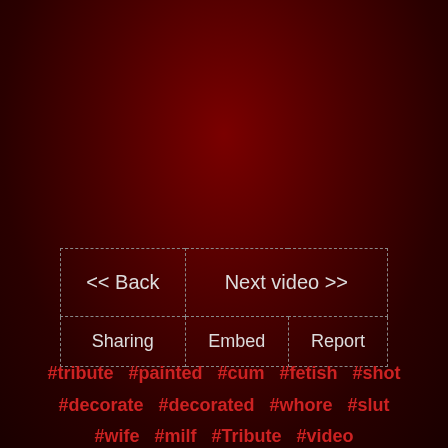| << Back | Next video >> |
| Sharing | Embed | Report |
#tribute  #painted  #cum  #fetish  #shot  #decorate  #decorated  #whore  #slut  #wife  #milf  #Tribute  #video